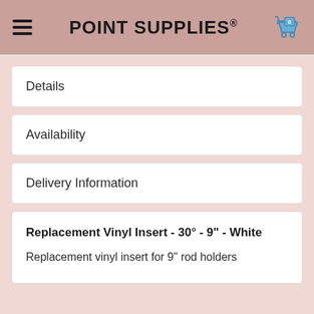POINT SUPPLIES®
Details
Availability
Delivery Information
Replacement Vinyl Insert - 30° - 9" - White
Replacement vinyl insert for 9" rod holders